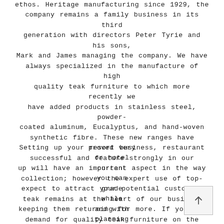ethos. Heritage manufacturing since 1929, the company remains a family business in its third generation with directors Peter Tyrie and his sons, Mark and James managing the company. We have always specialized in the manufacture of high quality teak furniture to which more recently we have added products in stainless steel, powder-coated aluminum, Eucalyptus, and hand-woven synthetic fibre. These new ranges have proved very successful and feature strongly in our current collection; however the expert use of top-grade teak remains at the heart of our business and with demand for quality teak furniture on the rise, its use can be seen in several of our new ranges.
Setting up your resort business, restaurant or hotel up will have an important aspect in the way you can expect to attract your potential customers while keeping them returning for more. If you are planning for a more relaxing environment for your establishment, then you need to opt for comm rated outdoor furniture. For the chaises, you want to use those that are constructed of